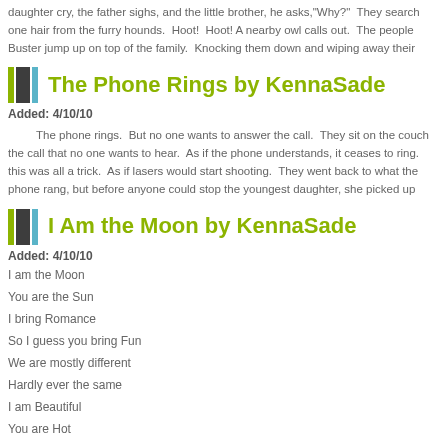daughter cry, the father sighs, and the little brother, he asks,"Why?"  They search one hair from the furry hounds.  Hoot!  Hoot! A nearby owl calls out.  The people Buster jump up on top of the family.  Knocking them down and wiping away their
The Phone Rings by KennaSade
Added: 4/10/10
The phone rings.  But no one wants to answer the call.  They sit on the couch the call that no one wants to hear.  As if the phone understands, it ceases to ring. this was all a trick.  As if lasers would start shooting.  They went back to what the phone rang, but before anyone could stop the youngest daughter, she picked up
I Am the Moon by KennaSade
Added: 4/10/10
I am the Moon
You are the Sun
I bring Romance
So I guess you bring Fun
We are mostly different
Hardly ever the same
I am Beautiful
You are Hot